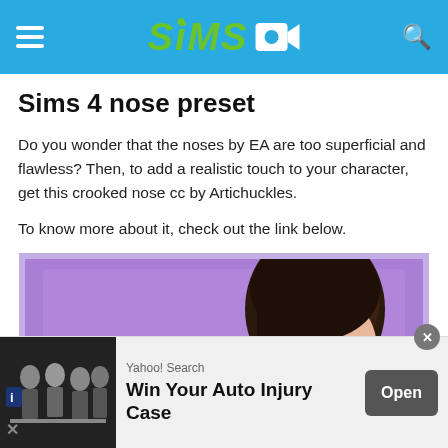Sims (logo with camera icon)
Sims 4 nose preset
Do you wonder that the noses by EA are too superficial and flawless? Then, to add a realistic touch to your character, get this crooked nose cc by Artichuckles.
To know more about it, check out the link below.
[Figure (illustration): Screenshot of a Sims 4 custom content preview image showing a female Sim character with dark hair on a purple background, with the text 'CROOKED' overlaid in white bold letters at the bottom.]
[Figure (other): Yahoo! Search advertisement banner. Shows people in suits, text: 'Yahoo! Search — Win Your Auto Injury Case' with an 'Open' button.]